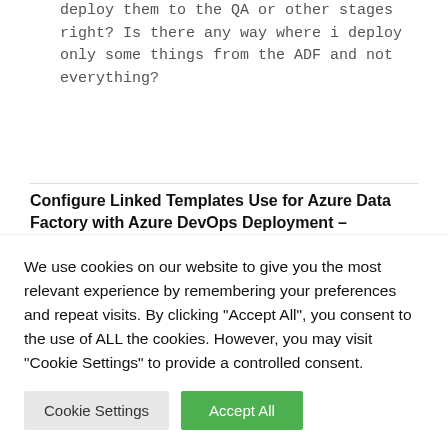deploy them to the QA or other stages right? Is there any way where i deploy only some things from the ADF and not everything?
Configure Linked Templates Use for Azure Data Factory with Azure DevOps Deployment – Oramoss
MARCH 04, 08:25   REPLY
[...] this article from Kamil Nowinski I have a Build Pipeline "ADF-CI" in Azure DevOps which stores the [...]
Vishnu
We use cookies on our website to give you the most relevant experience by remembering your preferences and repeat visits. By clicking "Accept All", you consent to the use of ALL the cookies. However, you may visit "Cookie Settings" to provide a controlled consent.